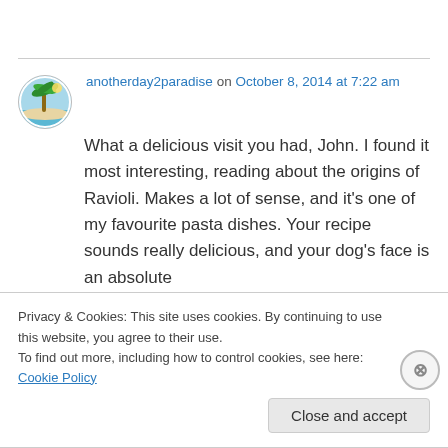anotherday2paradise on October 8, 2014 at 7:22 am
What a delicious visit you had, John. I found it most interesting, reading about the origins of Ravioli. Makes a lot of sense, and it's one of my favourite pasta dishes. Your recipe sounds really delicious, and your dog's face is an absolute
Privacy & Cookies: This site uses cookies. By continuing to use this website, you agree to their use.
To find out more, including how to control cookies, see here: Cookie Policy